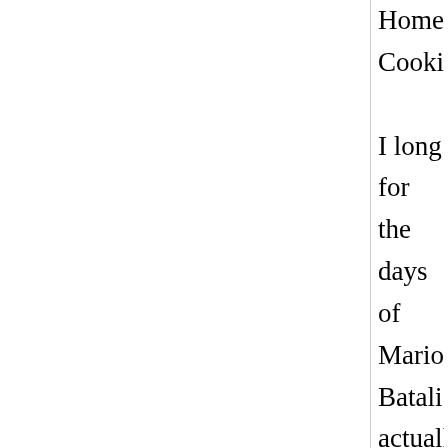Homemade Cooking." I long for the days of Mario Batali actually enlightening us on Italian cuisine. PBS is showing its mettle, with Lidia Bastianich and Gourmet's Diary of a Foodie. I hope 2009 brings us some intelligent food programming. And hey, I love Nigella